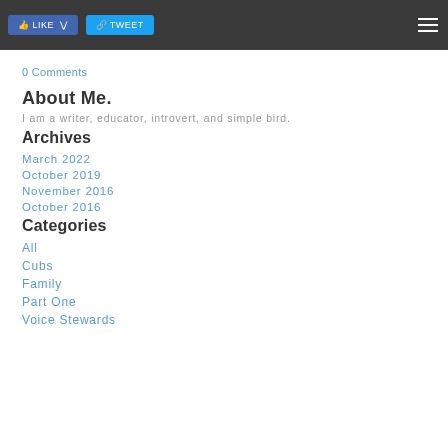LIKE | TWEET
0 Comments
About Me.
I am a writer, educator, introvert, and simple bird.
Archives
March 2022
October 2019
November 2016
October 2016
Categories
All
Cubs
Family
Part One
Voice Stewards